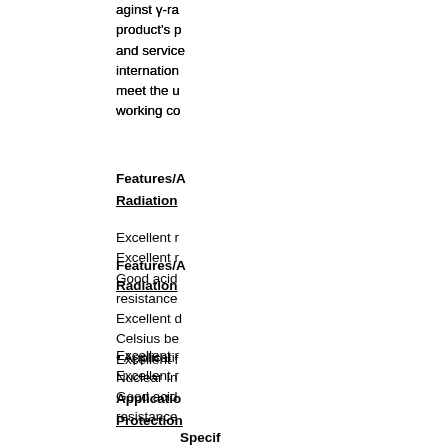aginst γ-ra product's p and service internation meet the u working co
Features/A Radiation
Excellent r Excellent r Good acid resistance Excellent d Celsius be Excellent f
• Applicati Nuclear In
Applicatio Protection
Specif Rad